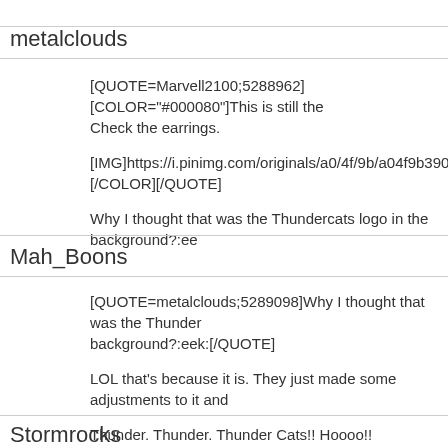metalclouds
[QUOTE=Marvell2100;5288962][COLOR="#000080"]This is still the Check the earrings.
[IMG]https://i.pinimg.com/originals/a0/4f/9b/a04f9b390e233c1ff7a5b [/COLOR][/QUOTE]
Why I thought that was the Thundercats logo in the background?:ee
Mah_Boons
[QUOTE=metalclouds;5289098]Why I thought that was the Thunder background?:eek:[/QUOTE]
LOL that's because it is. They just made some adjustments to it and
Thunder. Thunder. Thunder Cats!! Hoooo!!
Stormrocks